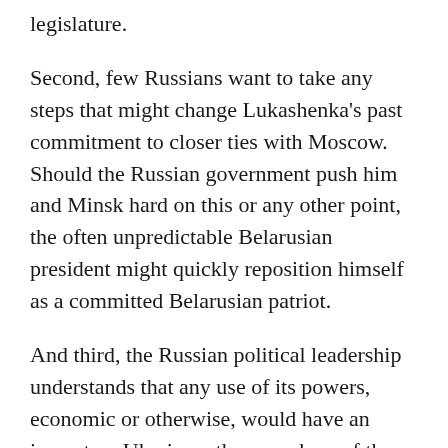legislature.
Second, few Russians want to take any steps that might change Lukashenka's past commitment to closer ties with Moscow. Should the Russian government push him and Minsk hard on this or any other point, the often unpredictable Belarusian president might quickly reposition himself as a committed Belarusian patriot.
And third, the Russian political leadership understands that any use of its powers, economic or otherwise, would have an impact on Ukraine, other members of the CIS, and on Eastern Europe. Too strong a Russian move would certainly push these countries away from Moscow rather than attract them to it.